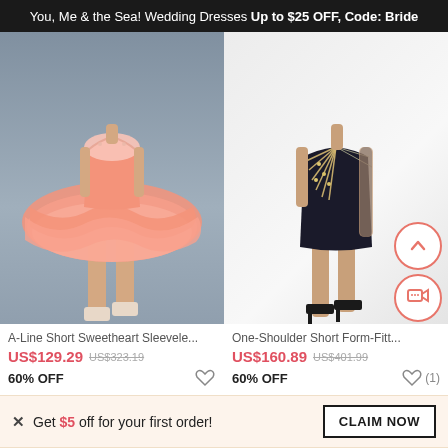You, Me & the Sea! Wedding Dresses Up to $25 OFF, Code: Bride
[Figure (photo): A-Line Short Sweetheart Sleeveless peach/coral tulle dress on a model, gray background]
[Figure (photo): One-Shoulder Short Form-Fitted black dress with jeweled bodice on a model, white background]
A-Line Short Sweetheart Sleevele...
US$129.29  US$323.19
60% OFF
One-Shoulder Short Form-Fitt...
US$160.89  US$401.99
60% OFF
X  Get $5 off for your first order!
CLAIM NOW
ADD TO BAG